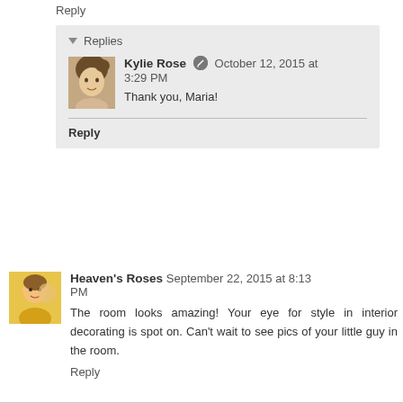Reply
▼ Replies
Kylie Rose [edit icon] October 12, 2015 at 3:29 PM
Thank you, Maria!
Reply
Heaven's Roses September 22, 2015 at 8:13 PM
The room looks amazing! Your eye for style in interior decorating is spot on. Can't wait to see pics of your little guy in the room.
Reply